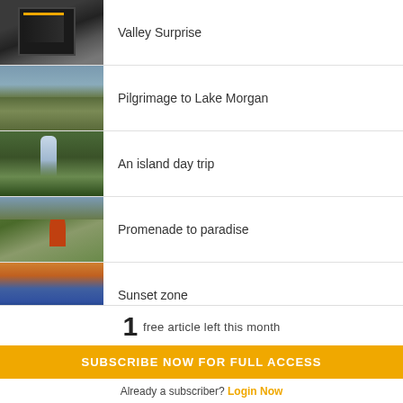Valley Surprise
Pilgrimage to Lake Morgan
An island day trip
Promenade to paradise
Sunset zone
1  free article left this month
SUBSCRIBE NOW FOR FULL ACCESS
Already a subscriber? Login Now